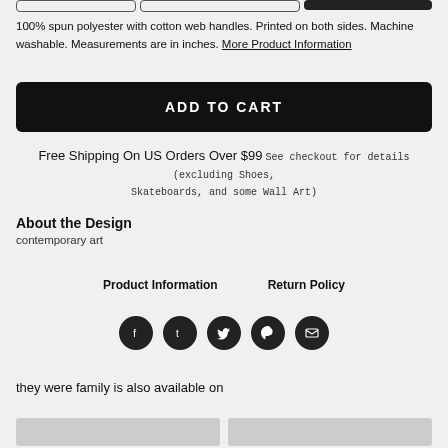100% spun polyester with cotton web handles. Printed on both sides. Machine washable. Measurements are in inches. More Product Information
ADD TO CART
Free Shipping On US Orders Over $99 See checkout for details (excluding Shoes, Skateboards, and some Wall Art)
About the Design
contemporary art
Product Information    Return Policy
[Figure (infographic): Row of 5 social media icon circles: Facebook, Tumblr, Twitter, Pinterest, Email]
they were family is also available on